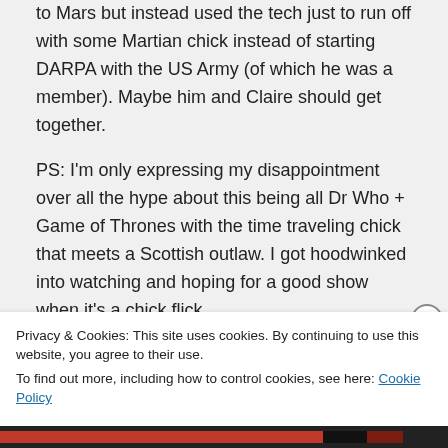to Mars but instead used the tech just to run off with some Martian chick instead of starting DARPA with the US Army (of which he was a member). Maybe him and Claire should get together.

PS: I'm only expressing my disappointment over all the hype about this being all Dr Who + Game of Thrones with the time traveling chick that meets a Scottish outlaw. I got hoodwinked into watching and hoping for a good show when it's a chick flick.
Privacy & Cookies: This site uses cookies. By continuing to use this website, you agree to their use.
To find out more, including how to control cookies, see here: Cookie Policy